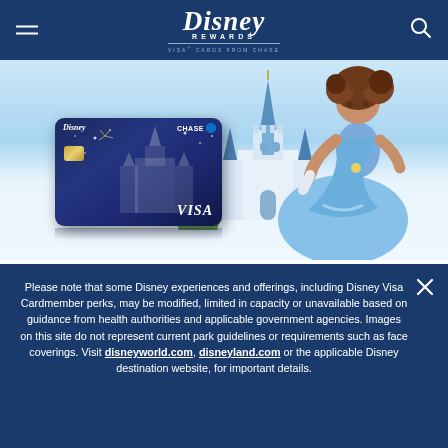Disney Rewards Visa Cards from Chase
[Figure (screenshot): Disney Rewards Visa Card from Chase promotional hero image showing a Disney Visa credit card with castle artwork on blue background, alongside a girl dressed in a Cinderella costume near a castle]
Please note that some Disney experiences and offerings, including Disney Visa Cardmember perks, may be modified, limited in capacity or unavailable based on guidance from health authorities and applicable government agencies. Images on this site do not represent current park guidelines or requirements such as face coverings. Visit disneyworld.com, disneyland.com or the applicable Disney destination website, for important details.